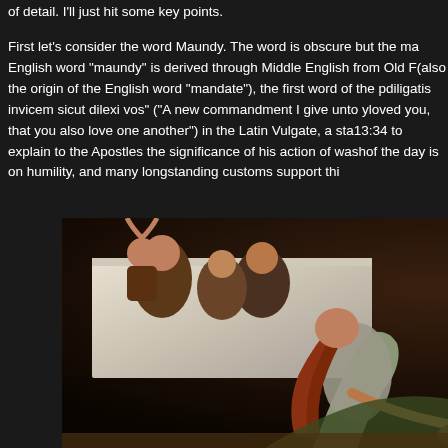of detail. I'll just hit some key points.

First let's consider the word Maundy. The word is obscure but the ma... English word "maundy" is derived through Middle English from Old F... (also the origin of the English word "mandate"), the first word of the p... diligatis invicem sicut dilexi vos" ("A new commandment I give unto y... loved you, that you also love one another") in the Latin Vulgate, a sta... 13:34 to explain to the Apostles the significance of his action of wash... of the day is on humility, and many longstanding customs support thi...
[Figure (photo): A classical painting depicting Jesus washing the feet of an apostle. A figure with long reddish hair bows down washing feet in a basin, while a bearded elderly man sits with hands clasped in prayer. Several other figures are visible in the background around a table.]